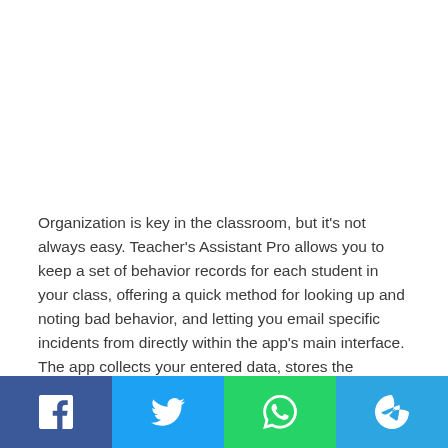Organization is key in the classroom, but it's not always easy. Teacher's Assistant Pro allows you to keep a set of behavior records for each student in your class, offering a quick method for looking up and noting bad behavior, and letting you email specific incidents from directly within the app's main interface. The app collects your entered data, stores the infraction or accolade, the date, time, and location, images, class period, details, teacher action taken, and any parental involvement.
[Figure (other): Social sharing bar with four buttons: Facebook (blue), Twitter (light blue), WhatsApp (green), Telegram (dark blue)]